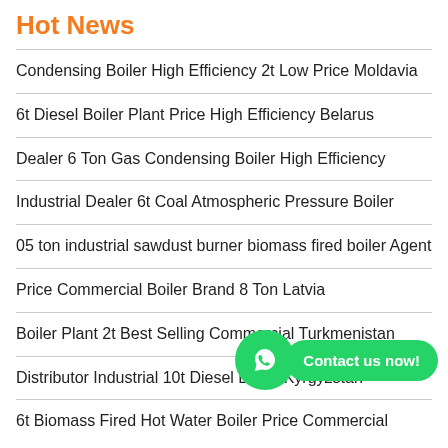Hot News
Condensing Boiler High Efficiency 2t Low Price Moldavia
6t Diesel Boiler Plant Price High Efficiency Belarus
Dealer 6 Ton Gas Condensing Boiler High Efficiency
Industrial Dealer 6t Coal Atmospheric Pressure Boiler
05 ton industrial sawdust burner biomass fired boiler Agent
Price Commercial Boiler Brand 8 Ton Latvia
Boiler Plant 2t Best Selling Commercial Turkmenistan
Distributor Industrial 10t Diesel Boiler Kyrgyzstan
6t Biomass Fired Hot Water Boiler Price Commercial
[Figure (other): WhatsApp contact button overlay with green icon and 'Contact us now!' bubble]